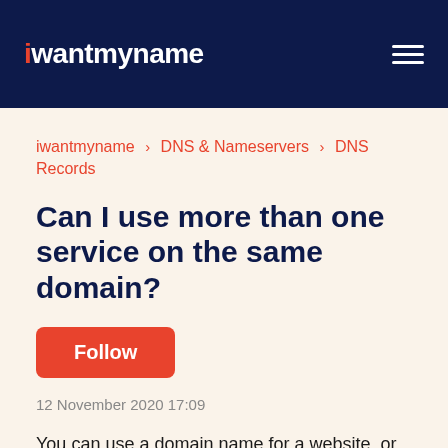iwantmyname
iwantmyname > DNS & Nameservers > DNS Records
Can I use more than one service on the same domain?
Follow
12 November 2020 17:09
You can use a domain name for a website, or multiple websites, and email, and a variety of things you might